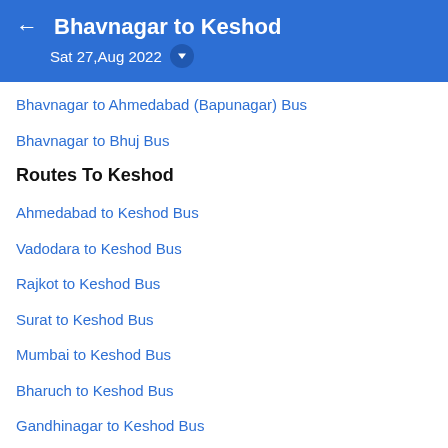Bhavnagar to Keshod
Sat 27,Aug 2022
Bhavnagar to Ahmedabad (Bapunagar) Bus
Bhavnagar to Bhuj Bus
Routes To Keshod
Ahmedabad to Keshod Bus
Vadodara to Keshod Bus
Rajkot to Keshod Bus
Surat to Keshod Bus
Mumbai to Keshod Bus
Bharuch to Keshod Bus
Gandhinagar to Keshod Bus
Anand to Keshod Bus
Ankleshwar to Keshod Bus